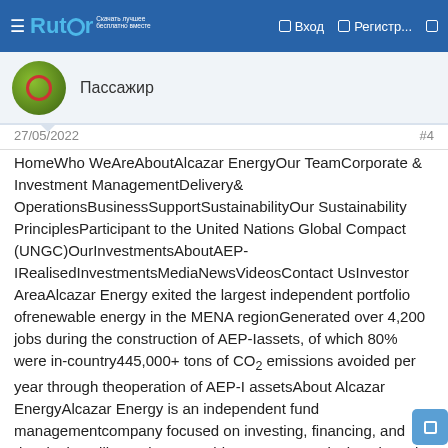Rutor — navigation bar with Вход and Регистр...
[Figure (other): User avatar — circular green badge with red ring, username Пассажир]
Пассажир
27/05/2022
#4
HomeWho WeAreAboutAlcazar EnergyOur TeamCorporate & Investment ManagementDelivery& OperationsBusinessSupportSustainabilityOur Sustainability PrinciplesParticipant to the United Nations Global Compact (UNGC)OurInvestmentsAboutAEP-IRealisedInvestmentsMediaNewsVideosContact UsInvestor AreaAlcazar Energy exited the largest independent portfolio ofrenewable energy in the MENA regionGenerated over 4,200 jobs during the construction of AEP-Iassets, of which 80% were in-country445,000+ tons of CO₂ emissions avoided per year through theoperation of AEP-I assetsAbout Alcazar EnergyAlcazar Energy is an independent fund managementcompany focused on investing, financing, and developingutility scale renewable energy capacity in selected emergingmarkets read moreSustainabilityread moreOur